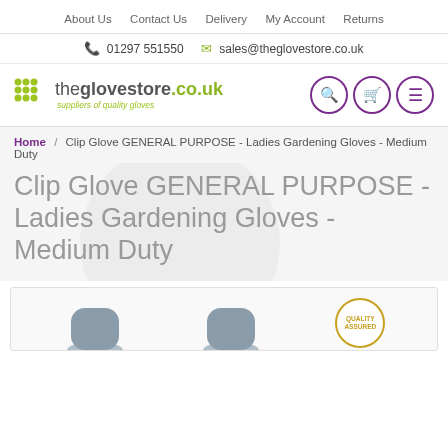About Us  Contact Us  Delivery  My Account  Returns
📞 01297 551550  ✉ sales@theglovestore.co.uk
[Figure (logo): theglovestore.co.uk logo with green dot grid and tagline 'suppliers of quality gloves']
Home / Clip Glove GENERAL PURPOSE - Ladies Gardening Gloves - Medium Duty
Clip Glove GENERAL PURPOSE - Ladies Gardening Gloves - Medium Duty
[Figure (photo): Product image area showing gardening gloves silhouettes and a quality badge]